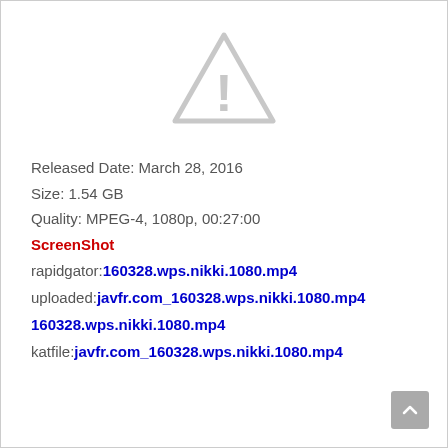[Figure (illustration): Gray warning triangle icon with exclamation mark]
Released Date: March 28, 2016
Size: 1.54 GB
Quality: MPEG-4, 1080p, 00:27:00
ScreenShot
rapidgator:160328.wps.nikki.1080.mp4
uploaded:javfr.com_160328.wps.nikki.1080.mp4
160328.wps.nikki.1080.mp4
katfile:javfr.com_160328.wps.nikki.1080.mp4